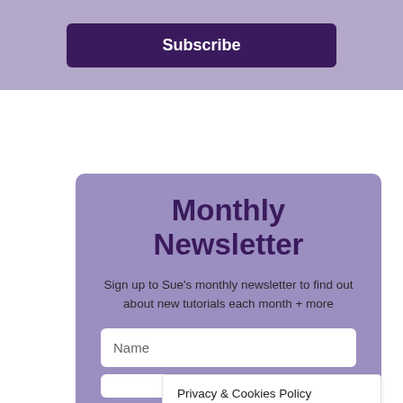Subscribe
Monthly Newsletter
Sign up to Sue's monthly newsletter to find out about new tutorials each month + more
Name
Privacy & Cookies Policy